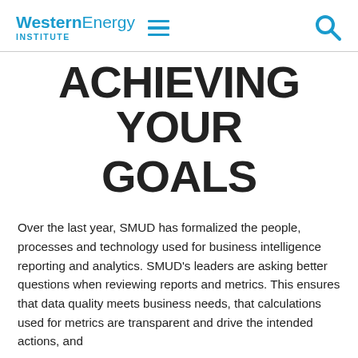Western Energy Institute
ACHIEVING YOUR GOALS
Over the last year, SMUD has formalized the people, processes and technology used for business intelligence reporting and analytics. SMUD's leaders are asking better questions when reviewing reports and metrics. This ensures that data quality meets business needs, that calculations used for metrics are transparent and drive the intended actions, and